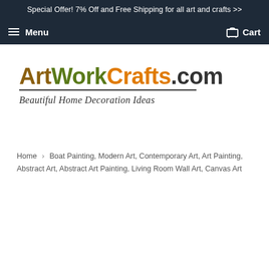Special Offer! 7% Off and Free Shipping for all art and crafts >>
Menu   Cart
ArtWorkCrafts.com
Beautiful Home Decoration Ideas
Home > Boat Painting, Modern Art, Contemporary Art, Art Painting, Abstract Art, Abstract Art Painting, Living Room Wall Art, Canvas Art